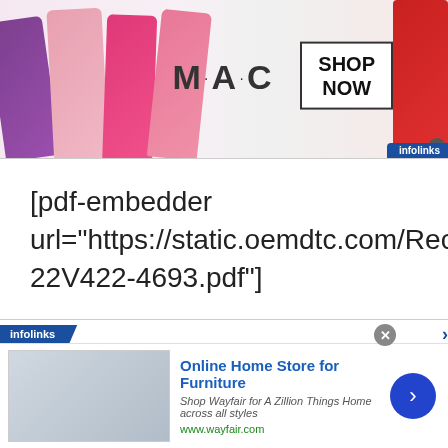[Figure (photo): MAC cosmetics advertisement banner with colorful lipsticks on the left, MAC logo in center, SHOP NOW button in a box, red lipstick on the right, with infolinks badge]
[pdf-embedder url="https://static.oemdtc.com/Recall/22V422/RCAK-22V422-4693.pdf"]
[Figure (photo): Infolinks advertisement for Wayfair Online Home Store for Furniture with image of kitchen appliances, title, description and arrow button]